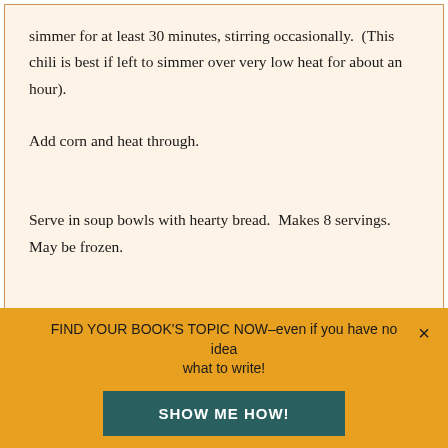simmer for at least 30 minutes, stirring occasionally.  (This chili is best if left to simmer over very low heat for about an hour).  Add corn and heat through.
Serve in soup bowls with hearty bread.  Makes 8 servings. May be frozen.
Never miss a recipe-or a comment from The Girls! Click here to subscribe to RickiHeller.com via email. You'll
FIND YOUR BOOK'S TOPIC NOW–even if you have no idea what to write!
SHOW ME HOW!